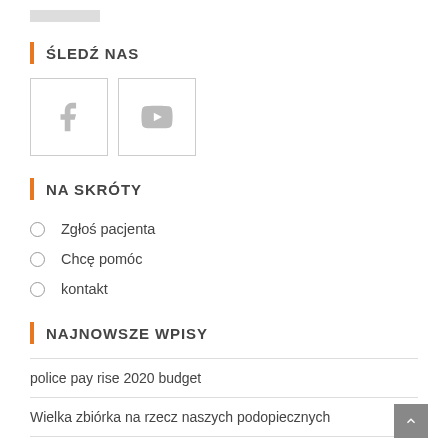ŚLEDŹ NAS
[Figure (illustration): Two social media icon boxes: Facebook (f) and YouTube (play button), each in a light gray bordered square]
NA SKRÓTY
Zgłoś pacjenta
Chcę pomóc
kontakt
NAJNOWSZE WPISY
police pay rise 2020 budget
Wielka zbiórka na rzecz naszych podopiecznych